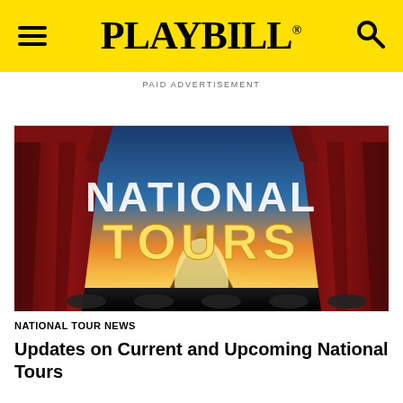PLAYBILL
PAID ADVERTISEMENT
[Figure (illustration): Theater stage with red curtains on both sides, a dramatic sunset sky with glowing light on a road, and large text reading 'NATIONAL TOURS']
NATIONAL TOUR NEWS
Updates on Current and Upcoming National Tours